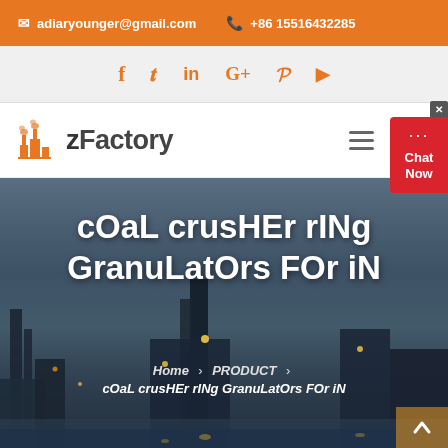adiaryounger@gmail.com  +86 15516432285
f  t  in  G+  p  yt
[Figure (logo): zFactory logo with orange factory building icon and text 'zFactory']
cOaL crusHEr rINg GranuLatOrs FOr iN
Home › PRODUCT › cOaL crusHEr rINg GranuLatOrs FOr iN